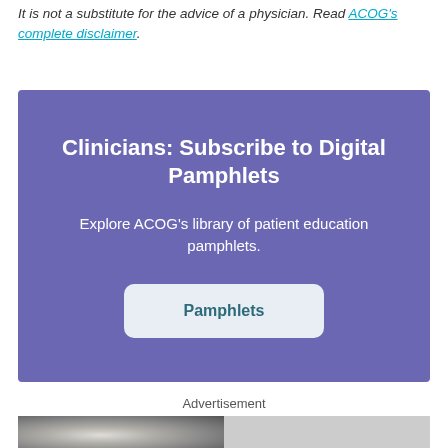It is not a substitute for the advice of a physician. Read ACOG's complete disclaimer.
[Figure (infographic): Purple promotional box titled 'Clinicians: Subscribe to Digital Pamphlets' with subtitle 'Explore ACOG's library of patient education pamphlets.' and a 'Pamphlets' button.]
Advertisement
[Figure (photo): Black and white photo of a woman's face partially visible, next to a teal 'Back to Top' button.]